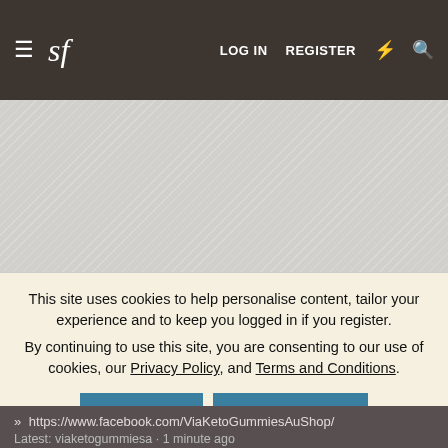≡  sf  LOG IN  REGISTER
[Figure (other): Gray hatched banner/advertisement placeholder area]
This site uses cookies to help personalise content, tailor your experience and to keep you logged in if you register.
By continuing to use this site, you are consenting to our use of cookies, our Privacy Policy, and Terms and Conditions.
✓ ACCEPT    LEARN MORE...
» https://www.facebook.com/ViaKetoGummiesAuShop/
Latest: viaketogummiesa · 1 minute ago
» Kent Wang - Affiliate thread
Latest: Kent Wang · 1 minute ago
» The Official Thrift / Discount Store Bragging Thread Part ...